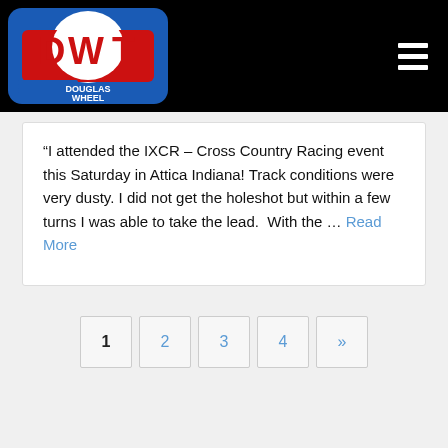DWT RACING® SINCE 1981 – DWT Douglas Wheel logo with hamburger menu
“I attended the IXCR – Cross Country Racing event this Saturday in Attica Indiana! Track conditions were very dusty. I did not get the holeshot but within a few turns I was able to take the lead.  With the … Read More
1
2
3
4
»